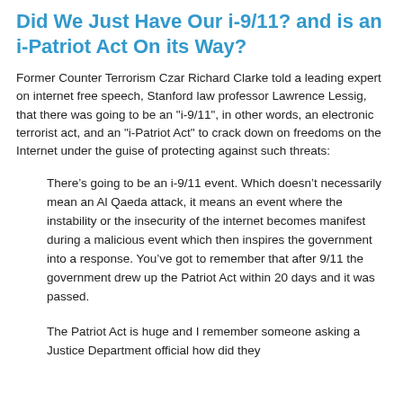Did We Just Have Our i-9/11? and is an i-Patriot Act On its Way?
Former Counter Terrorism Czar Richard Clarke told a leading expert on internet free speech, Stanford law professor Lawrence Lessig, that there was going to be an "i-9/11", in other words, an electronic terrorist act, and an "i-Patriot Act" to crack down on freedoms on the Internet under the guise of protecting against such threats:
There’s going to be an i-9/11 event. Which doesn’t necessarily mean an Al Qaeda attack, it means an event where the instability or the insecurity of the internet becomes manifest during a malicious event which then inspires the government into a response. You’ve got to remember that after 9/11 the government drew up the Patriot Act within 20 days and it was passed.
The Patriot Act is huge and I remember someone asking a Justice Department official how did they write such a statute so quickly and of...